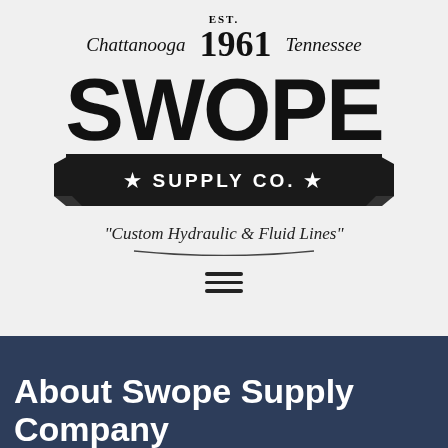[Figure (logo): Swope Supply Co. logo with EST. 1961 Chattanooga Tennessee header, large SWOPE text, banner reading *SUPPLY CO.*, tagline 'Custom Hydraulic & Fluid Lines' with underline, and hamburger menu icon]
About Swope Supply Company